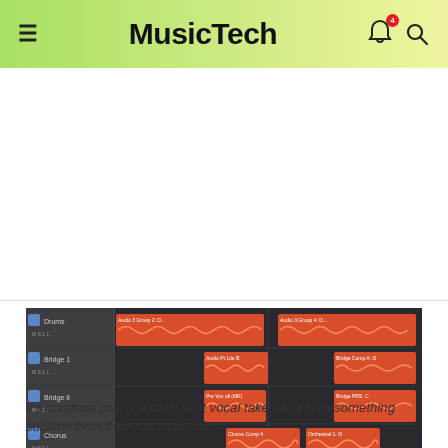MusicTech
[Figure (screenshot): DAW (Digital Audio Workstation) arrangement view showing multiple audio tracks with orange waveform clips arranged on a dark timeline grid]
It's common practice to dissect vocal takes and craft something sublime from their raw materials